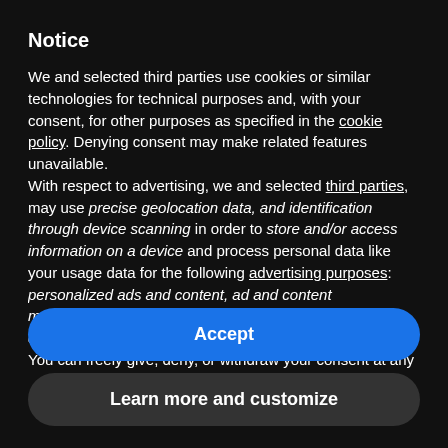Notice
We and selected third parties use cookies or similar technologies for technical purposes and, with your consent, for other purposes as specified in the cookie policy. Denying consent may make related features unavailable.
With respect to advertising, we and selected third parties, may use precise geolocation data, and identification through device scanning in order to store and/or access information on a device and process personal data like your usage data for the following advertising purposes: personalized ads and content, ad and content measurement, audience insights and product development.
You can freely give, deny, or withdraw your consent at any
Accept
Learn more and customize